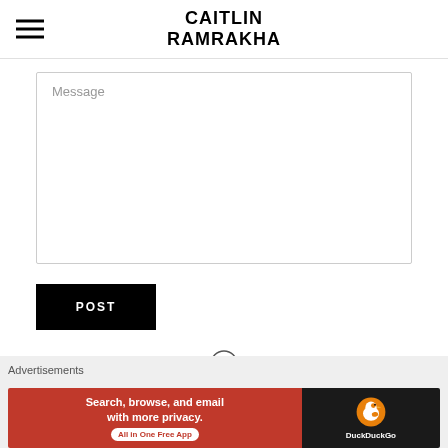CAITLIN RAMRAKHA
Message
POST
[Figure (logo): WordPress logo circle icon]
[Figure (other): Close/dismiss button (X in circle)]
Advertisements
[Figure (other): DuckDuckGo advertisement banner: Search, browse, and email with more privacy. All in One Free App]